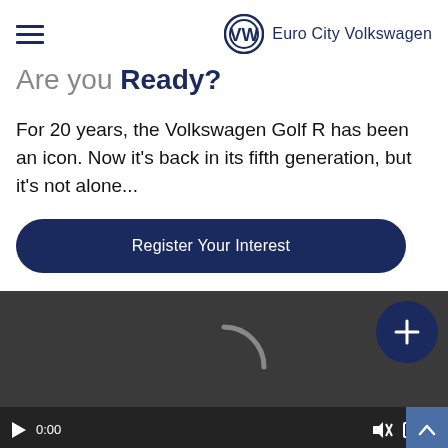Euro City Volkswagen
Are you Ready?
For 20 years, the Volkswagen Golf R has been an icon. Now it's back in its fifth generation, but it's not alone...
Register Your Interest
[Figure (screenshot): Video player with dark background showing a loading spinner arc, a navy blue plus button in the top-right corner, and playback controls at the bottom showing play button, 0:00 timestamp, mute icon, fullscreen icon, and options icon.]